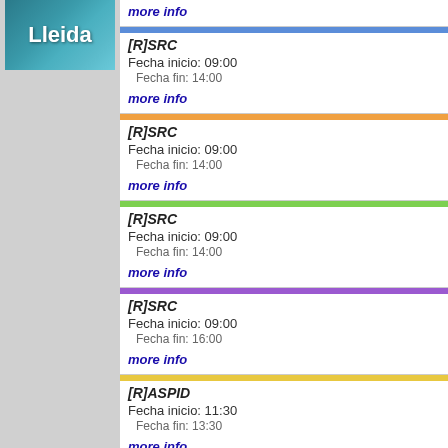[Figure (photo): Lleida city/region image with white text 'Lleida' on teal/green background]
more info
[R]SRC
Fecha inicio: 09:00
Fecha fin: 14:00
more info
[R]SRC
Fecha inicio: 09:00
Fecha fin: 14:00
more info
[R]SRC
Fecha inicio: 09:00
Fecha fin: 14:00
more info
[R]SRC
Fecha inicio: 09:00
Fecha fin: 16:00
more info
[R]ASPID
Fecha inicio: 11:30
Fecha fin: 13:30
more info
[R]DMD
Fecha inicio: 17:00
Fecha fin: 19:00